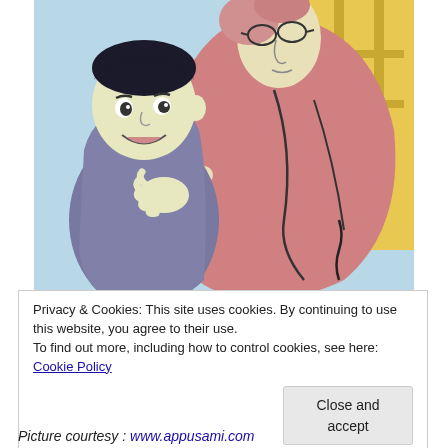[Figure (illustration): A cartoon illustration showing two characters: a shorter young man in a dark suit with a bow tie smiling and looking up, and a taller elderly woman in a pink/mauve dress with glasses, standing close together near a staircase railing with a yellow/golden background.]
Privacy & Cookies: This site uses cookies. By continuing to use this website, you agree to their use.
To find out more, including how to control cookies, see here: Cookie Policy
Close and accept
Picture courtesy : www.appusami.com